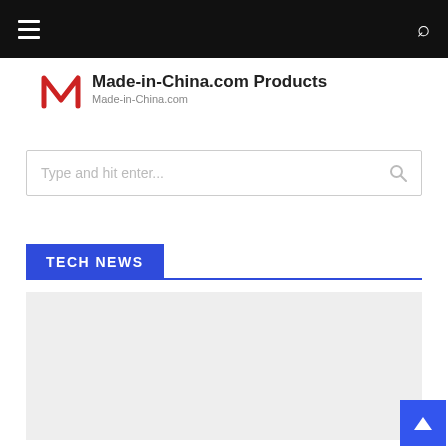Navigation bar with hamburger menu and search icon
Made-in-China.com Products
Made-in-China.com
Type and hit enter...
TECH NEWS
[Figure (photo): Gray placeholder image area below the Tech News section header]